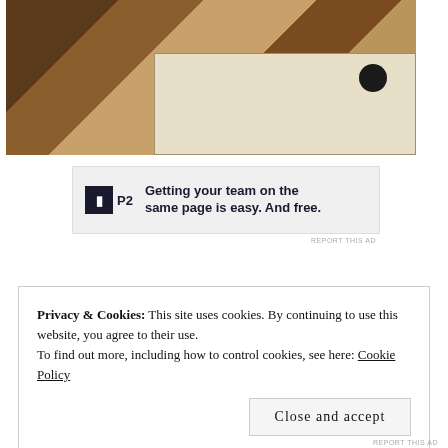[Figure (photo): Close-up photo of a brown and tan checkered/herringbone woven textile or throw draped over a light beige dresser or cabinet with a black drawer handle visible]
[Figure (other): Advertisement banner: P2 logo (dark square with H icon) followed by bold text 'Getting your team on the same page is easy. And free.']
REPORT THIS AD
Privacy & Cookies: This site uses cookies. By continuing to use this website, you agree to their use.
To find out more, including how to control cookies, see here: Cookie Policy
Close and accept
REPORT THIS AD